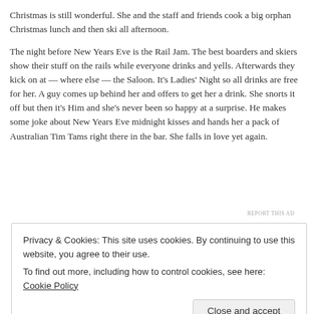Christmas is still wonderful. She and the staff and friends cook a big orphan Christmas lunch and then ski all afternoon.
The night before New Years Eve is the Rail Jam. The best boarders and skiers show their stuff on the rails while everyone drinks and yells. Afterwards they kick on at — where else — the Saloon. It's Ladies' Night so all drinks are free for her. A guy comes up behind her and offers to get her a drink. She snorts it off but then it's Him and she's never been so happy at a surprise. He makes some joke about New Years Eve midnight kisses and hands her a pack of Australian Tim Tams right there in the bar. She falls in love yet again.
REPORT THIS AD
Privacy & Cookies: This site uses cookies. By continuing to use this website, you agree to their use.
To find out more, including how to control cookies, see here: Cookie Policy
Close and accept